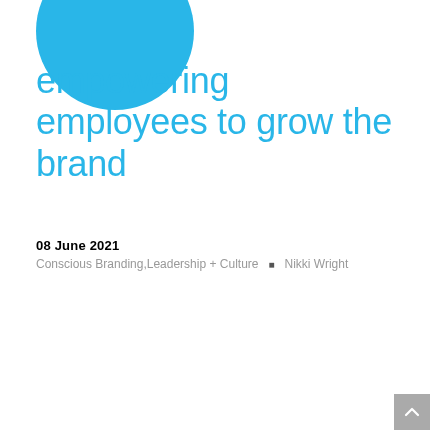[Figure (illustration): Large cyan/sky-blue circle partially cropped at top-left of page]
empowering employees to grow the brand
08 June 2021
Conscious Branding,Leadership + Culture  •  Nikki Wright